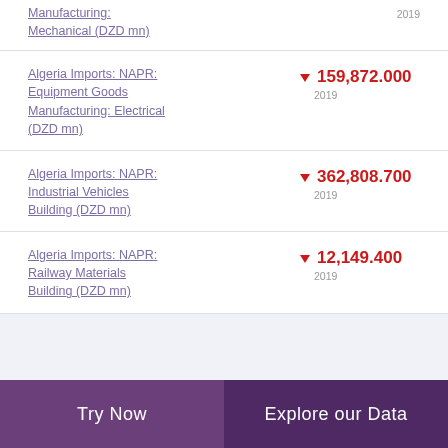Manufacturing: Mechanical (DZD mn)
Algeria Imports: NAPR: Equipment Goods Manufacturing: Electrical (DZD mn)
Algeria Imports: NAPR: Industrial Vehicles Building (DZD mn)
Algeria Imports: NAPR: Railway Materials Building (DZD mn)
Try Now | Explore our Data